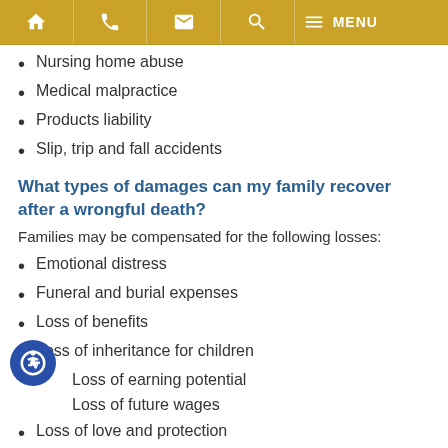Navigation bar with home, phone, email, search, menu icons
Nursing home abuse
Medical malpractice
Products liability
Slip, trip and fall accidents
What types of damages can my family recover after a wrongful death?
Families may be compensated for the following losses:
Emotional distress
Funeral and burial expenses
Loss of benefits
Loss of inheritance for children
Loss of earning potential
Loss of future wages
Loss of love and protection
Pain and suffering
Punitive damages